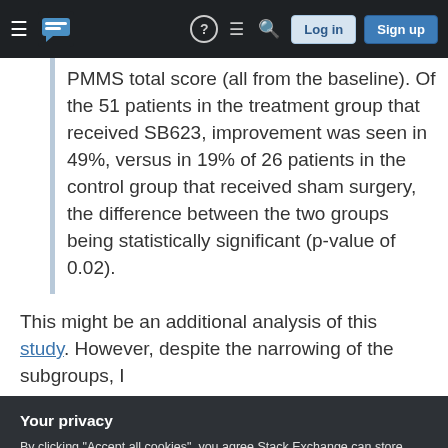Stack Exchange navigation bar with hamburger menu, logo, help, chat, search icons, Log in and Sign up buttons
PMMS total score (all from the baseline). Of the 51 patients in the treatment group that received SB623, improvement was seen in 49%, versus in 19% of 26 patients in the control group that received sham surgery, the difference between the two groups being statistically significant (p-value of 0.02).
This might be an additional analysis of this study. However, despite the narrowing of the subgroups, I
Your privacy
By clicking "Accept all cookies", you agree Stack Exchange can store cookies on your device and disclose information in accordance with our Cookie Policy.
The followings are my questions: